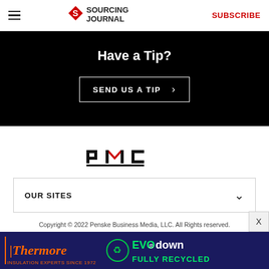Sourcing Journal — SUBSCRIBE
[Figure (infographic): Black section with 'Have a Tip?' heading and 'SEND US A TIP >' button]
[Figure (logo): PMC logo — stylized text logo with red accent on M]
OUR SITES
Copyright © 2022 Penske Business Media, LLC. All Rights reserved. Powered by WordPress.com VIP
[Figure (photo): Thermore | EVO down FULLY RECYCLED advertisement banner — insulation experts since 1972]